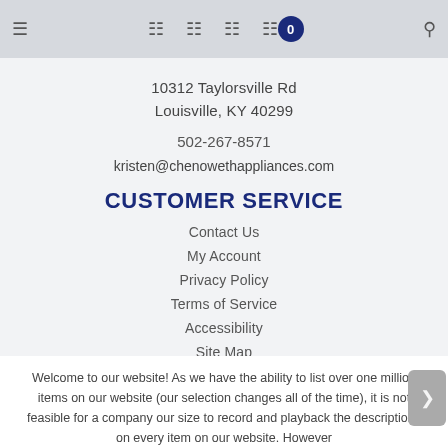Navigation bar with icons and cart badge (0)
10312 Taylorsville Rd
Louisville, KY 40299
502-267-8571
kristen@chenowethappliances.com
CUSTOMER SERVICE
Contact Us
My Account
Privacy Policy
Terms of Service
Accessibility
Site Map
Do Not Sell My Personal Information
Welcome to our website! As we have the ability to list over one million items on our website (our selection changes all of the time), it is not feasible for a company our size to record and playback the descriptions on every item on our website. However